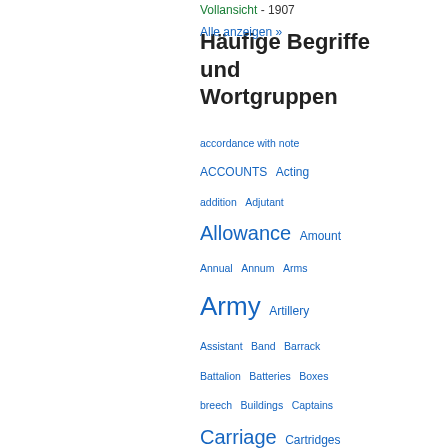Vollansicht - 1907
Alle anzeigen »
Häufige Begriffe und Wortgruppen
accordance with note  ACCOUNTS  Acting  addition  Adjutant  Allowance  Amount  Annual  Annum  Arms  Army  Artillery  Assistant  Band  Barrack  Battalion  Batteries  Boxes  breech  Buildings  Captains  Carriage  Cartridges  Cavalry  charge  chevrons